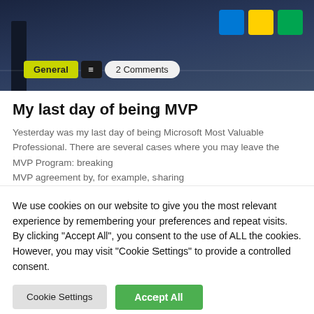[Figure (photo): Hero image showing a person in dark clothing standing in front of colorful Microsoft-branded blocks/cubes (blue, yellow, green) on a dark floor. Tag bar overlaid at bottom showing General category and 2 Comments badge.]
My last day of being MVP
Yesterday was my last day of being Microsoft Most Valuable Professional. There are several cases where you may leave the MVP Program: breaking MVP agreement by, for example, sharing
We use cookies on our website to give you the most relevant experience by remembering your preferences and repeat visits. By clicking "Accept All", you consent to the use of ALL the cookies. However, you may visit "Cookie Settings" to provide a controlled consent.